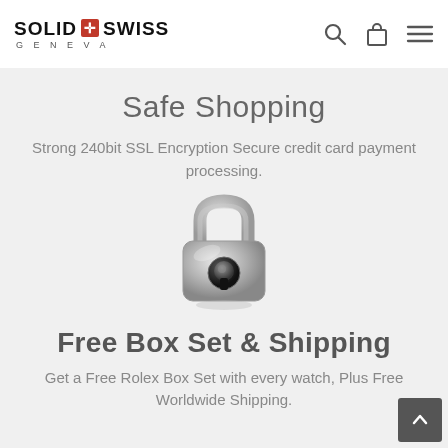SOLID SWISS GENEVA
Safe Shopping
Strong 240bit SSL Encryption Secure credit card payment processing.
[Figure (illustration): A silver padlock icon with reflection, symbolizing security]
Free Box Set & Shipping
Get a Free Rolex Box Set with every watch, Plus Free Worldwide Shipping.